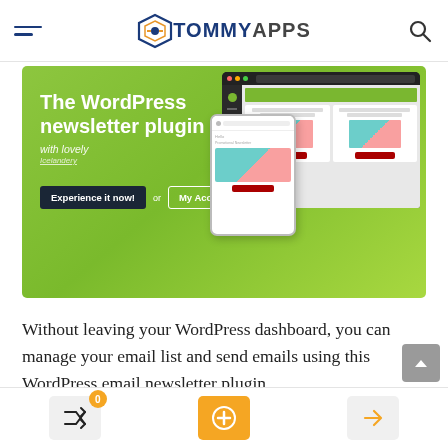TommyApps navigation header with hamburger menu, logo, and search icon
[Figure (screenshot): Hero banner for WordPress newsletter plugin with green gradient background, headline 'The WordPress newsletter plugin with lovely', two CTA buttons 'Experience it now!' and 'My Account', and mockup screenshots of desktop and mobile email views]
Without leaving your WordPress dashboard, you can manage your email list and send emails using this WordPress email newsletter plugin.
It includes a drag-and-drop email builder that
Bottom navigation bar with shuffle icon (badge 0), add button, and login button